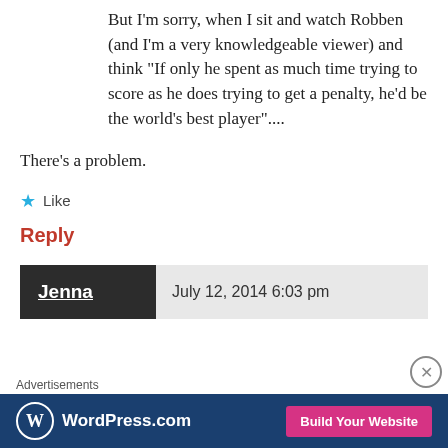But I'm sorry, when I sit and watch Robben (and I'm a very knowledgeable viewer) and think "If only he spent as much time trying to score as he does trying to get a penalty, he'd be the world's best player"....
There's a problem.
★ Like
Reply
Jenna   July 12, 2014 6:03 pm
Advertisements
[Figure (screenshot): WordPress.com advertisement banner with logo and 'Build Your Website' button]